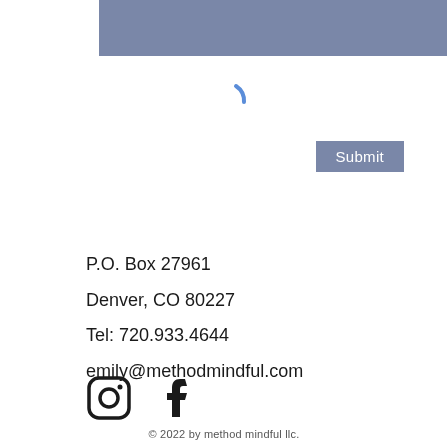[Figure (other): Blue-grey rectangular banner/header bar at top of page]
[Figure (other): Blue loading spinner arc icon]
[Figure (other): Submit button with blue-grey background and white text]
P.O. Box 27961
Denver, CO 80227
Tel: 720.933.4644
emily@methodmindful.com
[Figure (other): Instagram and Facebook social media icons]
© 2022 by method mindful llc.